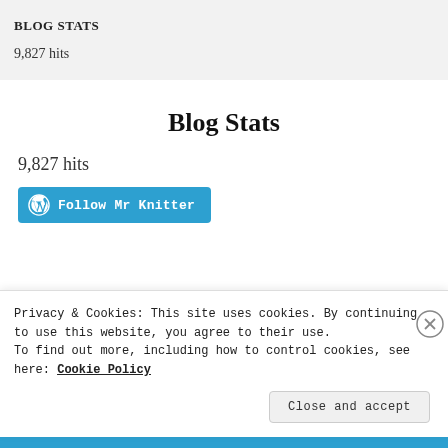BLOG STATS
9,827 hits
Blog Stats
9,827 hits
[Figure (other): Follow Mr Knitter button with WordPress logo]
Privacy & Cookies: This site uses cookies. By continuing to use this website, you agree to their use.
To find out more, including how to control cookies, see here: Cookie Policy
Close and accept